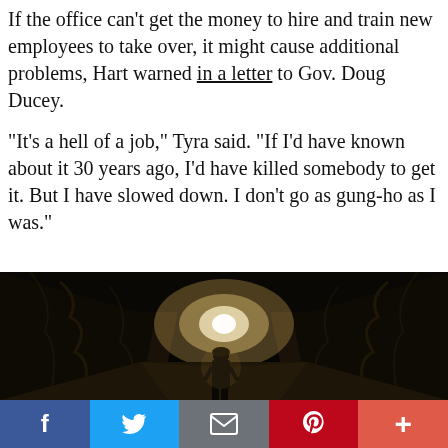If the office can't get the money to hire and train new employees to take over, it might cause additional problems, Hart warned in a letter to Gov. Doug Ducey.
“It’s a hell of a job,” Tyra said. “If I’d have known about it 30 years ago, I’d have killed somebody to get it. But I have slowed down. I don’t go as gung-ho as I was.”
[Figure (photo): A dark mine tunnel interior with rocky walls. A silhouetted person stands in the center, backlit by a bright light source at the far end of the tunnel.]
[Figure (infographic): Social media sharing bar with buttons: Facebook (blue), Twitter (light blue), Email/envelope (gray), Pinterest (red), and More/plus (orange-red).]